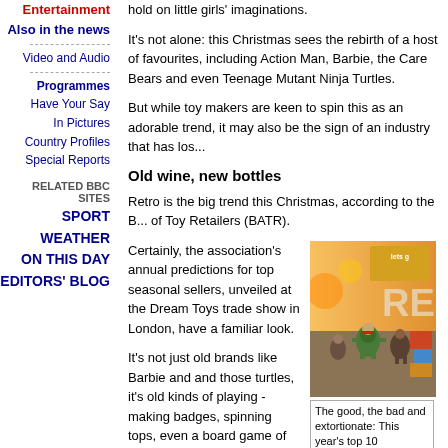Entertainment
Also in the news
Video and Audio
Programmes
Have Your Say
In Pictures
Country Profiles
Special Reports
RELATED BBC SITES
SPORT
WEATHER
ON THIS DAY
EDITORS' BLOG
hold on little girls' imaginations.
It's not alone: this Christmas sees the rebirth of a host of favourites, including Action Man, Barbie, the Care Bears and even Teenage Mutant Ninja Turtles.
But while toy makers are keen to spin this as an adorable trend, it may also be the sign of an industry that has los...
Old wine, new bottles
Retro is the big trend this Christmas, according to the B... of Toy Retailers (BATR).
Certainly, the association's annual predictions for top seasonal sellers, unveiled at the Dream Toys trade show in London, have a familiar look.
[Figure (photo): Photo of Teenage Mutant Ninja Turtle toy figures displayed at a trade show]
The good, the bad and extortionate: This year's top 10 Christmas toys.
It's not just old brands like Barbie and and those turtles, it's old kinds of playing - making badges, spinning tops, even a board game of all things.
That's mainly because parents ultimately hold the purse-strings, says Roland Earl of the British Toy and Hobby Association.